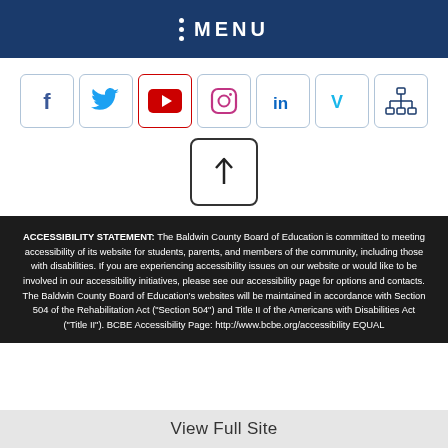MENU
[Figure (screenshot): Row of social media icon buttons: Facebook, Twitter, YouTube, Instagram, LinkedIn, Vimeo, and a network/sitemap icon, each in a bordered box]
[Figure (other): Scroll-to-top button with an upward arrow in a bordered box]
ACCESSIBILITY STATEMENT: The Baldwin County Board of Education is committed to meeting accessibility of its website for students, parents, and members of the community, including those with disabilities. If you are experiencing accessibility issues on our website or would like to be involved in our accessibility initiatives, please see our accessibility page for options and contacts. The Baldwin County Board of Education's websites will be maintained in accordance with Section 504 of the Rehabilitation Act ("Section 504") and Title II of the Americans with Disabilities Act ("Title II"). BCBE Accessibility Page: http://www.bcbe.org/accessibility EQUAL
View Full Site